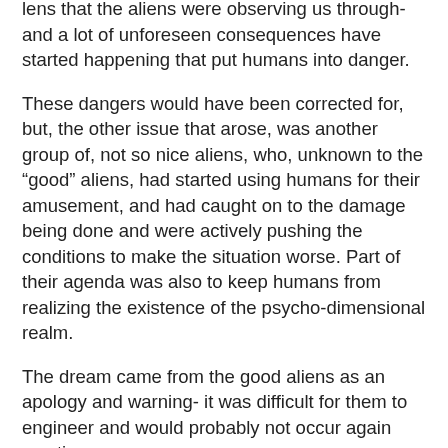lens that the aliens were observing us through- and a lot of unforeseen consequences have started happening that put humans into danger.
These dangers would have been corrected for, but, the other issue that arose, was another group of, not so nice aliens, who, unknown to the “good” aliens, had started using humans for their amusement, and had caught on to the damage being done and were actively pushing the conditions to make the situation worse. Part of their agenda was also to keep humans from realizing the existence of the psycho-dimensional realm.
The dream came from the good aliens as an apology and warning- it was difficult for them to engineer and would probably not occur again any time soon.
At the end of the dream there was a weird interjection that the malicious aliens had figured out where the earth is and